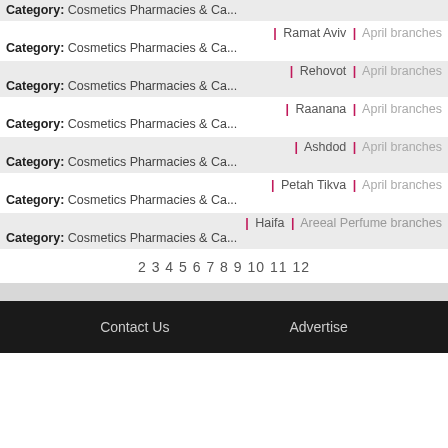Category: Cosmetics Pharmacies & Ca...
| Ramat Aviv | April branches
Category: Cosmetics Pharmacies & Ca...
| Rehovot | April branches
Category: Cosmetics Pharmacies & Ca...
| Raanana | April branches
Category: Cosmetics Pharmacies & Ca...
| Ashdod | April branches
Category: Cosmetics Pharmacies & Ca...
| Petah Tikva | April branches
Category: Cosmetics Pharmacies & Ca...
| Haifa | Areeal Perfume branches
Category: Cosmetics Pharmacies & Ca...
2 3 4 5 6 7 8 9 10 11 12
Contact Us   Advertise